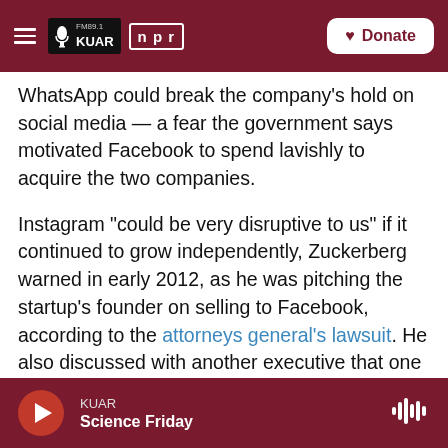[Figure (screenshot): KUAR FM 89.1 NPR radio station website header with dark red background, hamburger menu, KUAR logo, NPR logo box, and a white Donate button with heart icon]
WhatsApp could break the company's hold on social media — a fear the government says motivated Facebook to spend lavishly to acquire the two companies.
Instagram "could be very disruptive to us" if it continued to grow independently, Zuckerberg warned in early 2012, as he was pitching the startup's founder on selling to Facebook, according to the attorneys general's lawsuit. He also discussed with another executive that one motivation for buying the app was to "neutralize a potential competitor."
KUAR Science Friday